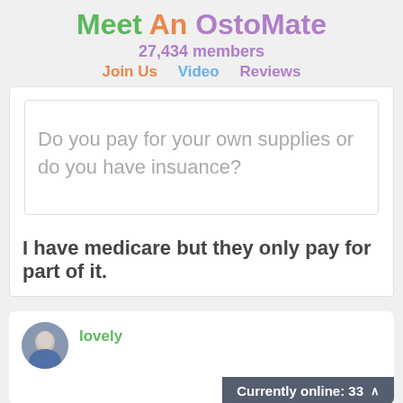Meet An OstoMate
27,434 members
Join Us   Video   Reviews
Do you pay for your own supplies or do you have insuance?
I have medicare but they only pay for part of it.
lovely
Currently online: 33